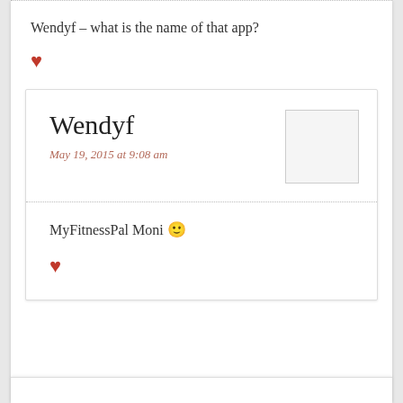Wendyf – what is the name of that app?
♥
Wendyf
May 19, 2015 at 9:08 am
MyFitnessPal Moni 🙂
♥